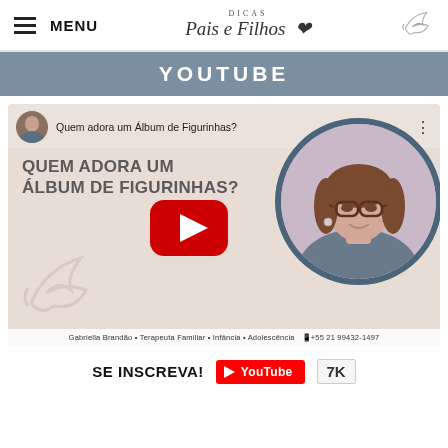MENU | Dicas Pais e Filhos
YOUTUBE
[Figure (screenshot): YouTube video thumbnail for 'Quem adora um Álbum de Figurinhas?' by Gabriella Brandão - Terapeuta Familiar - Infância - Adolescência, showing a play button over a beige background with a circular portrait of a woman with glasses and curly hair, with bird/dove watermark logo, and channel avatar in top left. Text overlay reads 'QUEM ADORA UM ÁLBUM DE FIGURINHAS?']
SE INSCREVA! [YouTube subscribe button] 7K